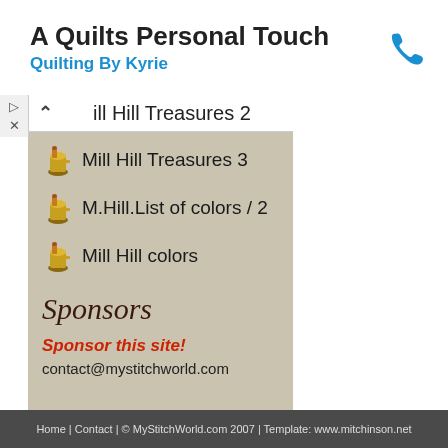A Quilts Personal Touch
Quilting By Kyrie
Mill Hill Treasures 2
Mill Hill Treasures 3
M.Hill.List of colors / 2
Mill Hill colors
Sponsors
Sponsor this site!
contact@mystitchworld.com
Home | Contact | © MyStitchWorld.com 2007 | Template: www.mitchinson.net